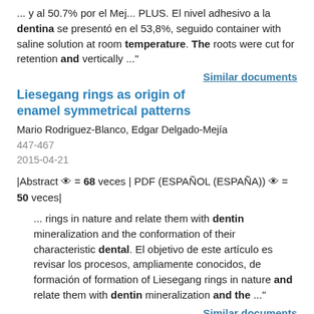... y al 50.7% por el Mej... PLUS. El nivel adhesivo a la dentina se presentó en el 53,8%, seguido container with saline solution at room temperature. The roots were cut for retention and vertically ..."
Similar documents
Liesegang rings as origin of enamel symmetrical patterns
Mario Rodriguez-Blanco, Edgar Delgado-Mejía
447-467
2015-04-21
|Abstract 👁 = 68 veces | PDF (ESPAÑOL (ESPAÑA)) 👁 = 50 veces|
... rings in nature and relate them with dentin mineralization and the conformation of their characteristic dental. El objetivo de este artículo es revisar los procesos, ampliamente conocidos, de formación of formation of Liesegang rings in nature and relate them with dentin mineralization and the ..."
Similar documents
Efficacy of a dentifrice for